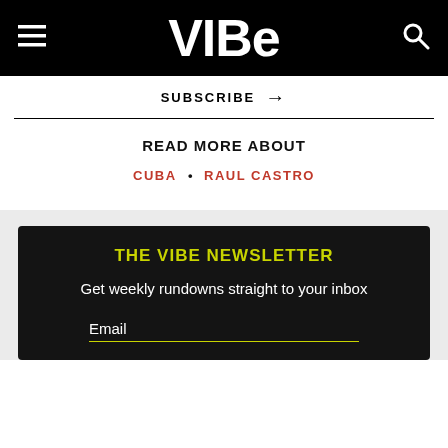VIBE
SUBSCRIBE →
READ MORE ABOUT
CUBA • RAUL CASTRO
THE VIBE NEWSLETTER
Get weekly rundowns straight to your inbox
Email